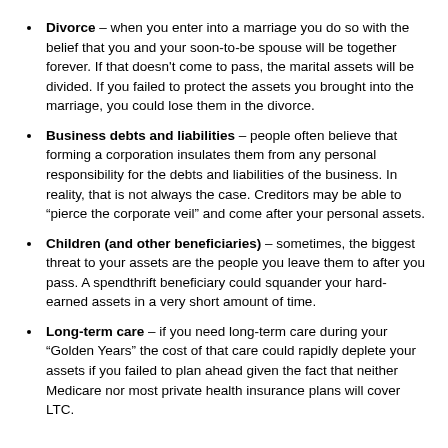Divorce – when you enter into a marriage you do so with the belief that you and your soon-to-be spouse will be together forever. If that doesn't come to pass, the marital assets will be divided. If you failed to protect the assets you brought into the marriage, you could lose them in the divorce.
Business debts and liabilities – people often believe that forming a corporation insulates them from any personal responsibility for the debts and liabilities of the business. In reality, that is not always the case. Creditors may be able to "pierce the corporate veil" and come after your personal assets.
Children (and other beneficiaries) – sometimes, the biggest threat to your assets are the people you leave them to after you pass. A spendthrift beneficiary could squander your hard-earned assets in a very short amount of time.
Long-term care – if you need long-term care during your "Golden Years" the cost of that care could rapidly deplete your assets if you failed to plan ahead given the fact that neither Medicare nor most private health insurance plans will cover LTC.